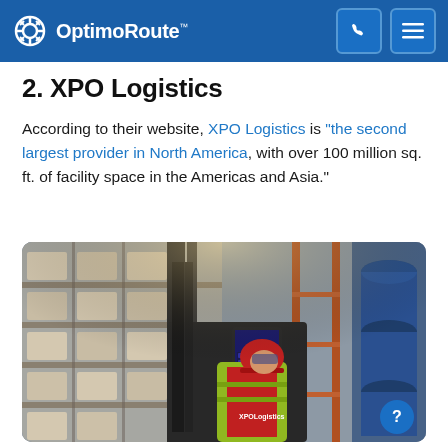OptimoRoute
2. XPO Logistics
According to their website, XPO Logistics is "the second largest provider in North America, with over 100 million sq. ft. of facility space in the Americas and Asia."
[Figure (photo): A worker wearing a red cap, red shirt, and yellow/green safety vest with XPO Logistics branding, operating a forklift or warehouse vehicle inside a large warehouse with rows of shelves stacked with pallets and blue barrels visible in the background.]